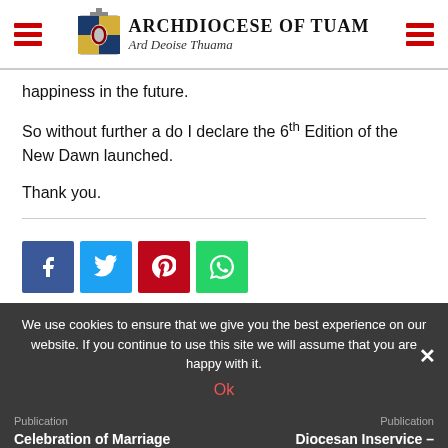Archdiocese of Tuam | Ard Deoise Thuama
happiness in the future.
So without further a do I declare the 6th Edition of the New Dawn launched.
Thank you.
[Figure (other): Social share buttons: Facebook, Twitter, Pinterest, WhatsApp]
We use cookies to ensure that we give you the best experience on our website. If you continue to use this site we will assume that you are happy with it.
Celebration of Marriage Anniversaries
Diocesan Inservice – Westport